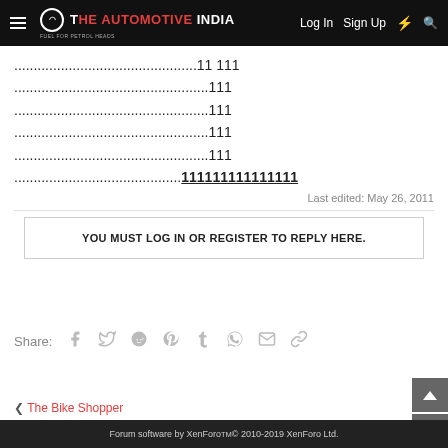THE AUTOMOTIVE INDIA | Log In | Sign Up
...............................................11 111
..................................................111
..................................................111
..................................................111
..................................................111
.................................................111111111111111
Last edited: May 26, 2011
YOU MUST LOG IN OR REGISTER TO REPLY HERE.
Share:
Forum software by XenForo™ © 2010-2019 XenForo Ltd.